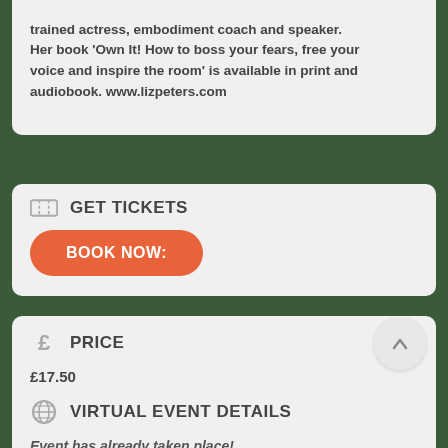trained actress, embodiment coach and speaker. Her book 'Own It! How to boss your fears, free your voice and inspire the room' is available in print and audiobook. www.lizpeters.com
GET TICKETS
BOOK NOW:
PRICE
£17.50
VIRTUAL EVENT DETAILS
Event has already taken place!